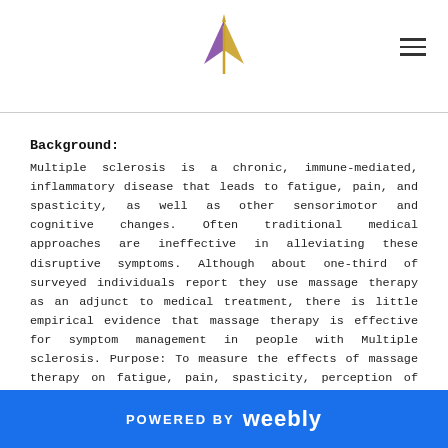[Logo and navigation header]
Background:
Multiple sclerosis is a chronic, immune-mediated, inflammatory disease that leads to fatigue, pain, and spasticity, as well as other sensorimotor and cognitive changes. Often traditional medical approaches are ineffective in alleviating these disruptive symptoms. Although about one-third of surveyed individuals report they use massage therapy as an adjunct to medical treatment, there is little empirical evidence that massage therapy is effective for symptom management in people with Multiple sclerosis. Purpose: To measure the effects of massage therapy on fatigue, pain, spasticity, perception of health, and quality of life in people with Multiple sclerosis.
Conclusions:
Massage therapy as delivered in this study, is a safe and beneficial
POWERED BY weebly